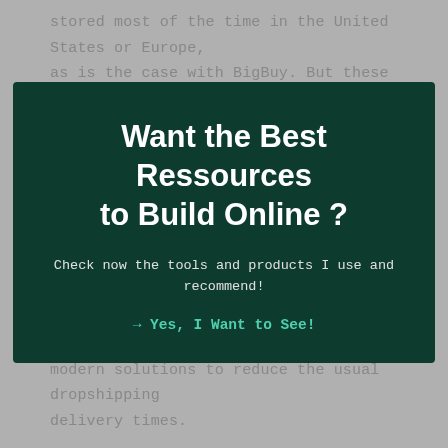stored most of the time in the United States or Europe, as is the case with BigBuy. But these solutions are not perfect and above all, rarely adapted to dropshipping.
[Figure (infographic): Dark green modal/popup overlay with title 'Want the Best Ressources to Build Online ?' and subtitle 'Check now the tools and products I use and recommend!' and a teal CTA link '→ Yes, I Want to See!']
modern solutions to reduce the usual dropshipping delivery times.